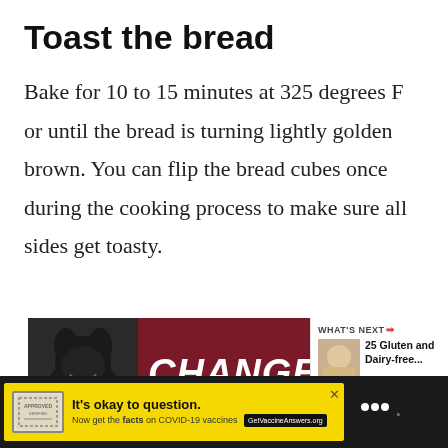Toast the bread
Bake for 10 to 15 minutes at 325 degrees F or until the bread is turning lightly golden brown. You can flip the bread cubes once during the cooking process to make sure all sides get toasty.
[Figure (other): Advertisement banner showing a black dog with text 'CHANGE A LI[FE]' on dark red background with a close button]
[Figure (other): What's Next panel showing thumbnail and text '25 Gluten and Dairy-free...']
[Figure (other): Bottom advertisement bar on dark background showing yellow ad with stamp graphic: 'It’s okay to question. Now get the facts on COVID-19 vaccines GetVaccineAnswers.org' and a Wiser logo]